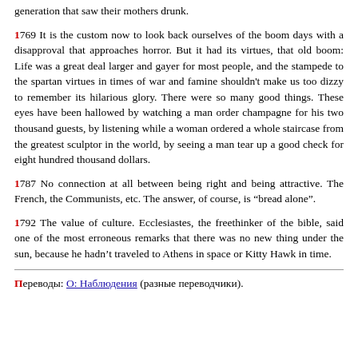generation that saw their mothers drunk.
1769 It is the custom now to look back ourselves of the boom days with a disapproval that approaches horror. But it had its virtues, that old boom: Life was a great deal larger and gayer for most people, and the stampede to the spartan virtues in times of war and famine shouldn't make us too dizzy to remember its hilarious glory. There were so many good things. These eyes have been hallowed by watching a man order champagne for his two thousand guests, by listening while a woman ordered a whole staircase from the greatest sculptor in the world, by seeing a man tear up a good check for eight hundred thousand dollars.
1787 No connection at all between being right and being attractive. The French, the Communists, etc. The answer, of course, is “bread alone”.
1792 The value of culture. Ecclesiastes, the freethinker of the bible, said one of the most erroneous remarks that there was no new thing under the sun, because he hadn’t traveled to Athens in space or Kitty Hawk in time.
Переводы: О: Наблюдения (разные переводчики).